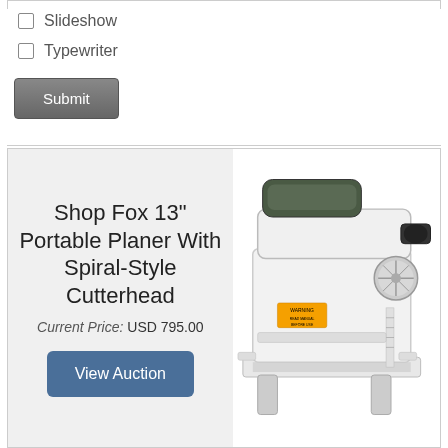Slideshow
Typewriter
Submit
[Figure (photo): Shop Fox 13 inch Portable Planer with Spiral-Style Cutterhead product card showing a white woodworking planer machine. Current Price: USD 795.00 with a View Auction button.]